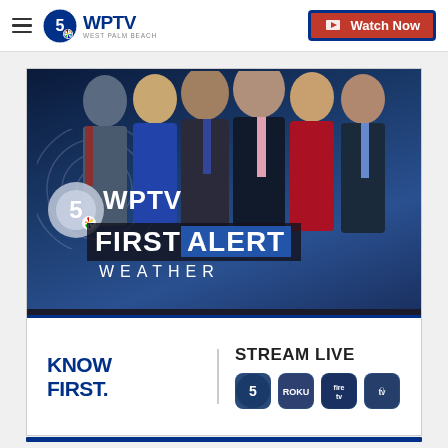WPTV West Palm Beach — Watch Now
[Figure (photo): WPTV First Alert Weather promotional image showing six news anchors/reporters posed together against a blue studio background, with WPTV First Alert Weather logo overlay and 'KNOW FIRST. STREAM LIVE' promo strip with app icons for WPTV, Roku, Fire TV, and Apple TV]